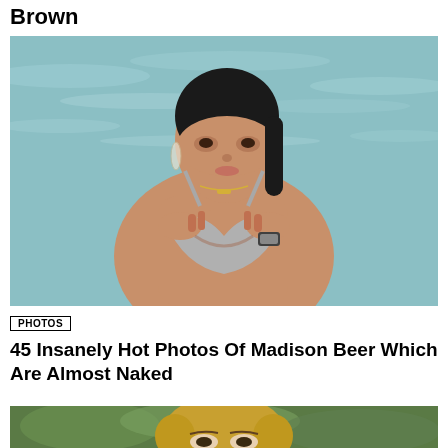Brown
[Figure (photo): Woman in gray bikini top standing in ocean water, dark hair pulled back, looking to the side]
PHOTOS
45 Insanely Hot Photos Of Madison Beer Which Are Almost Naked
[Figure (photo): Partial view of a young woman with blonde hair and green background foliage, visible from forehead to eyes]